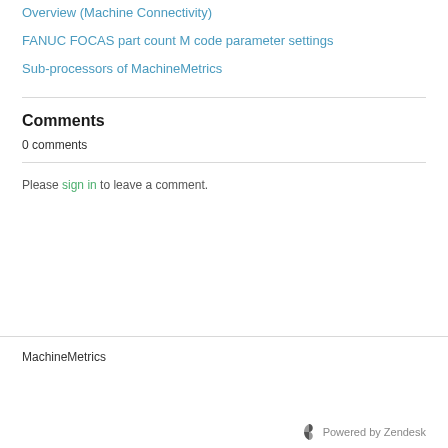Overview (Machine Connectivity)
FANUC FOCAS part count M code parameter settings
Sub-processors of MachineMetrics
Comments
0 comments
Please sign in to leave a comment.
MachineMetrics
Powered by Zendesk